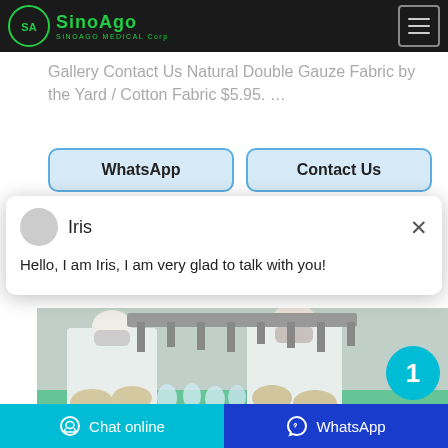SINOAGO MEDICAL Corp
Gallery Contact Us Natural Double Gauze Fabric by the Yard / Cotton Fabric $5.95. …
WhatsApp
Contact Us
[Figure (screenshot): Chat popup with avatar for Iris saying: Hello, I am Iris, I am very glad to talk with you!]
[Figure (photo): Workers in white lab coats and masks working on a production line with glass/plastic containers in a clean room facility]
Chat online   WhatsApp